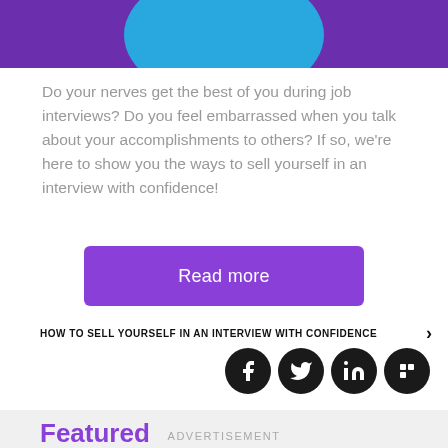[Figure (illustration): Purple header band with a teal/blue circle shape partially visible in the center]
Do your nerves get the best of you during job interviews? Do you feel embarrassed when you talk about your accomplishments to others? If so, we're here to show you the ways to sell yourself in an interview with confidence!
Read more
HOW TO SELL YOURSELF IN AN INTERVIEW WITH CONFIDENCE ›
[Figure (infographic): Four social media icons (Facebook, Twitter, LinkedIn, Flipboard) as white icons on black circles]
ADVERTISEMENT
Featured